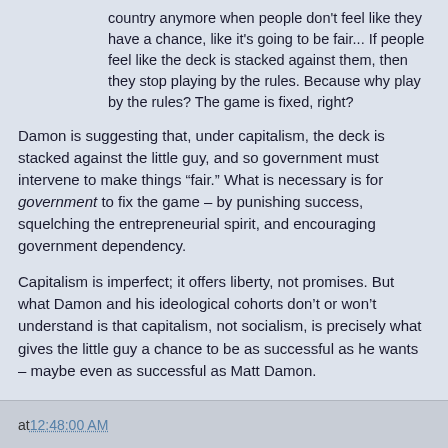country anymore when people don't feel like they have a chance, like it's going to be fair... If people feel like the deck is stacked against them, then they stop playing by the rules. Because why play by the rules? The game is fixed, right?
Damon is suggesting that, under capitalism, the deck is stacked against the little guy, and so government must intervene to make things “fair.” What is necessary is for government to fix the game – by punishing success, squelching the entrepreneurial spirit, and encouraging government dependency.
Capitalism is imperfect; it offers liberty, not promises. But what Damon and his ideological cohorts don’t or won’t understand is that capitalism, not socialism, is precisely what gives the little guy a chance to be as successful as he wants – maybe even as successful as Matt Damon.
(This article originally appeared here on FrontPage Mag, 8/3/12)
at 12:48:00 AM